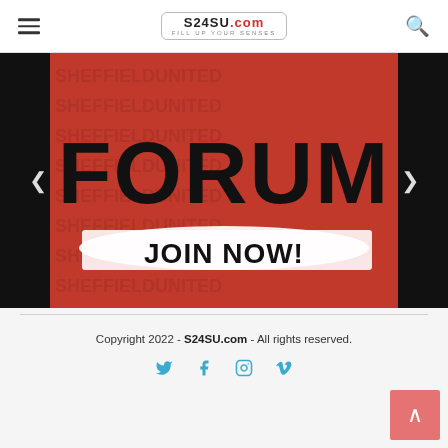S24SU.com — FILL UP YOUR SENSES, hamburger menu, search icon
[Figure (illustration): Sheffield United Forum banner — dark background with torn paper effect revealing red background with 'FORUM' text and 'JOIN NOW!' brush-stroke text]
Copyright 2022 - S24SU.com - All rights reserved. Social icons: Twitter, Facebook, Instagram, Vimeo. Back-to-top button.